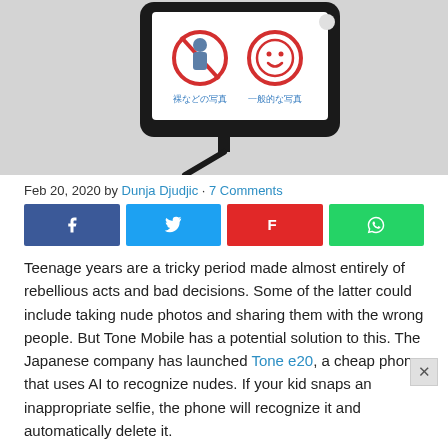[Figure (illustration): Illustration of a smartphone on a selfie stick showing two icons on screen: a prohibited nude photo icon (red circle with slash over a figure) labeled in Japanese '裸などの写真', and a permitted general photo icon (smiley face in red circle) labeled '一般的な写真'. The phone is shown against a light gray background.]
Feb 20, 2020 by Dunja Djudjic · 7 Comments
[Figure (infographic): Social share buttons: Facebook (dark blue with f icon), Twitter (light blue with bird icon), Flipboard (red with F icon), WhatsApp (green with phone icon)]
Teenage years are a tricky period made almost entirely of rebellious acts and bad decisions. Some of the latter could include taking nude photos and sharing them with the wrong people. But Tone Mobile has a potential solution to this. The Japanese company has launched Tone e20, a cheap phone that uses AI to recognize nudes. If your kid snaps an inappropriate selfie, the phone will recognize it and automatically delete it.